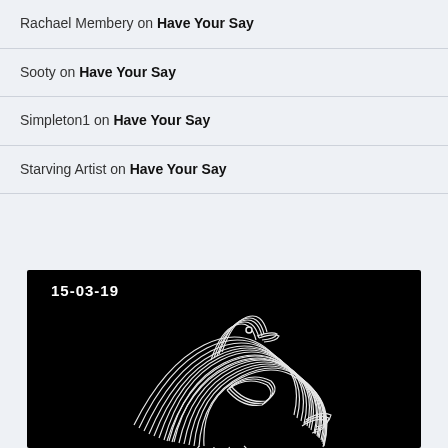Rachael Membery on Have Your Say
Sooty on Have Your Say
Simpleton1 on Have Your Say
Starving Artist on Have Your Say
[Figure (illustration): Black background artwork dated 15-03-19 showing a white line-drawing sketch of a bird (possibly a kiwi or rooster) rendered in white strokes on black background]